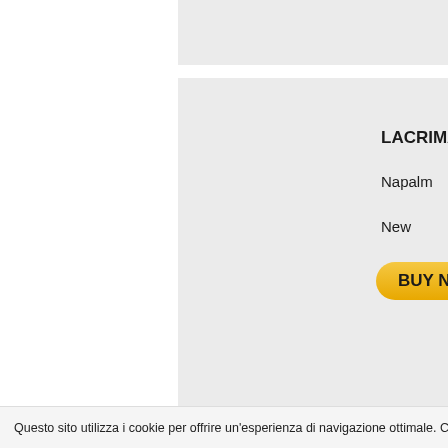[Figure (screenshot): Partial product card at top, grey background, cropped]
LACRIMAS PR
Napalm
New
BUY NOW
LACUNA COIL
Century Media
Second Hand / E
BUY NOW
Questo sito utilizza i cookie per offrire un'esperienza di navigazione ottimale. Continuando